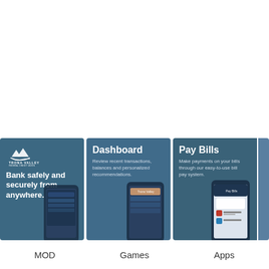[Figure (screenshot): Three app feature cards for Trona Valley Federal Credit Union mobile app. Card 1: Logo with 'Bank safely and securely from anywhere.' and phone screenshot. Card 2: 'Dashboard' - Review recent transactions, balances and personalized recommendations. Card 3: 'Pay Bills' - Make payments on your bills through our easy-to-use bill pay system.]
MOD
Games
Apps